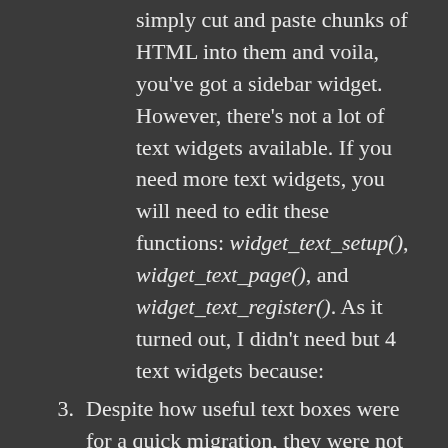simply cut and paste chunks of HTML into them and voila, you've got a sidebar widget. However, there's not a lot of text widgets available. If you need more text widgets, you will need to edit these functions: widget_text_setup(), widget_text_page(), and widget_text_register(). As it turned out, I didn't need but 4 text widgets because:
3. Despite how useful text boxes were for a quick migration, they were not enough.
So, I ended up writing two plugins of my own.
The first one is a Google AdSense plugin. You can download it here: gadsense.zip. It's exactly